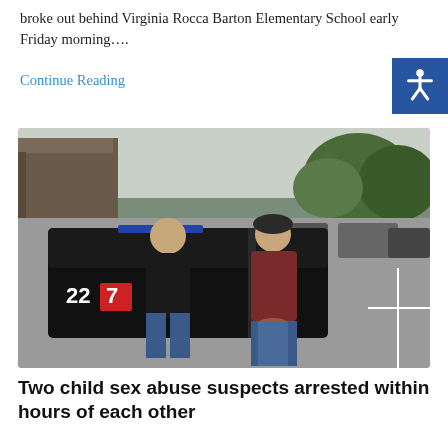broke out behind Virginia Rocca Barton Elementary School early Friday morning….
Continue Reading
[Figure (photo): Two people standing near a black police SUV in a parking lot. One person appears to be in handcuffs wearing a dark red/maroon plaid hoodie, the other in a black shirt. Number 22 and 7 visible on the vehicle.]
Two child sex abuse suspects arrested within hours of each other